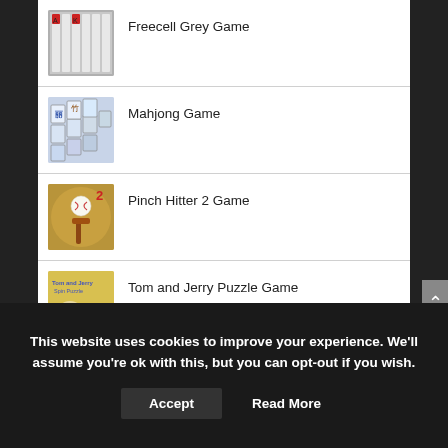Freecell Grey Game
Mahjong Game
Pinch Hitter 2 Game
Tom and Jerry Puzzle Game
This website uses cookies to improve your experience. We'll assume you're ok with this, but you can opt-out if you wish. Accept Read More